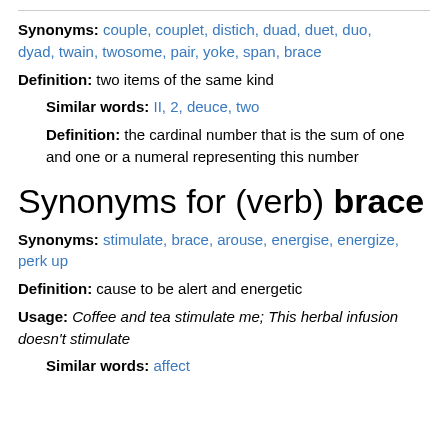Synonyms: couple, couplet, distich, duad, duet, duo, dyad, twain, twosome, pair, yoke, span, brace
Definition: two items of the same kind
Similar words: II, 2, deuce, two
Definition: the cardinal number that is the sum of one and one or a numeral representing this number
Synonyms for (verb) brace
Synonyms: stimulate, brace, arouse, energise, energize, perk up
Definition: cause to be alert and energetic
Usage: Coffee and tea stimulate me; This herbal infusion doesn't stimulate
Similar words: affect